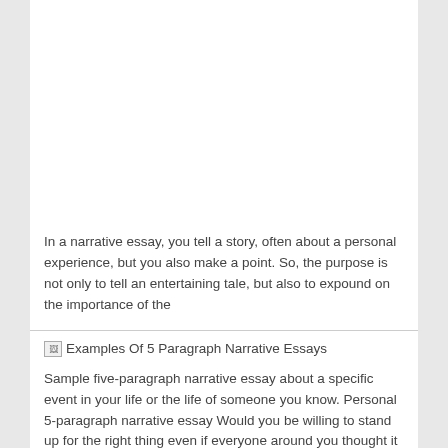In a narrative essay, you tell a story, often about a personal experience, but you also make a point. So, the purpose is not only to tell an entertaining tale, but also to expound on the importance of the
[Figure (other): Broken image placeholder labeled 'Examples Of 5 Paragraph Narrative Essays']
Sample five-paragraph narrative essay about a specific event in your life or the life of someone you know. Personal 5-paragraph narrative essay Would you be willing to stand up for the right thing even if everyone around you thought it was wrong?